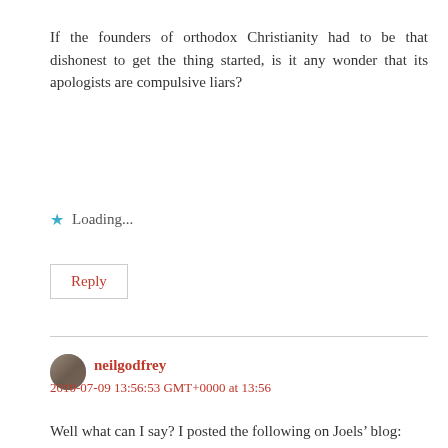If the founders of orthodox Christianity had to be that dishonest to get the thing started, is it any wonder that its apologists are compulsive liars?
Loading...
Reply
neilgodfrey
2010-07-09 13:56:53 GMT+0000 at 13:56
Well what can I say? I posted the following on Joels’ blog:
Nice to see your Christian and scholarly ethics at work, Joel. Perhaps